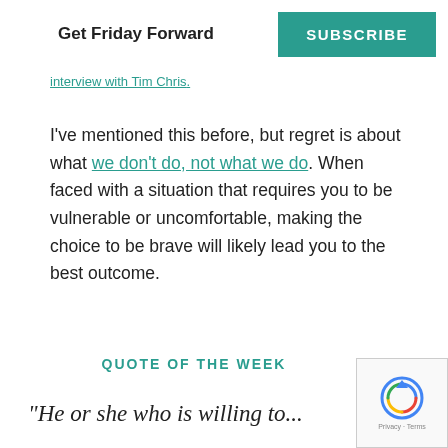Get Friday Forward  SUBSCRIBE
interview with Tim Chris.
I've mentioned this before, but regret is about what we don't do, not what we do. When faced with a situation that requires you to be vulnerable or uncomfortable, making the choice to be brave will likely lead you to the best outcome.
QUOTE OF THE WEEK
"He or she who is willing to...